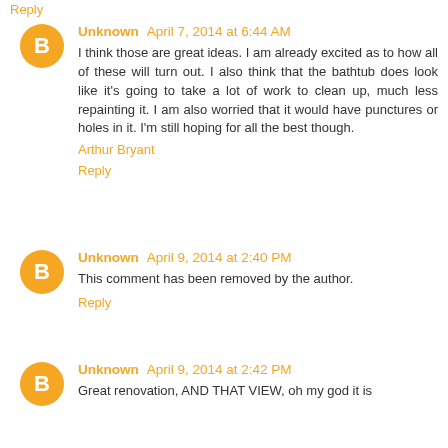Reply
Unknown April 7, 2014 at 6:44 AM
I think those are great ideas. I am already excited as to how all of these will turn out. I also think that the bathtub does look like it's going to take a lot of work to clean up, much less repainting it. I am also worried that it would have punctures or holes in it. I'm still hoping for all the best though.
Arthur Bryant
Reply
Unknown April 9, 2014 at 2:40 PM
This comment has been removed by the author.
Reply
Unknown April 9, 2014 at 2:42 PM
Great renovation, AND THAT VIEW, oh my god it